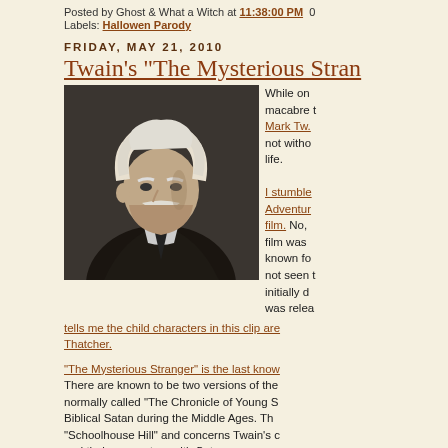Posted by Ghost & What a Witch at 11:38:00 PM  0
Labels: Hallowen Parody
FRIDAY, MAY 21, 2010
Twain's "The Mysterious Stran
[Figure (photo): Black and white portrait photograph of Mark Twain, elderly, with white hair, facing right in a suit.]
While on macabre t Mark Tw not witho life.

I stumble Adventur film. No, film was known fo not seen t initially d was relea
tells me the child characters in this clip are Thatcher.
"The Mysterious Stranger" is the last know There are known to be two versions of the normally called "The Chronicle of Young S Biblical Satan during the Middle Ages. Th "Schoolhouse Hill" and concerns Twain's c and their encounters with Satan.